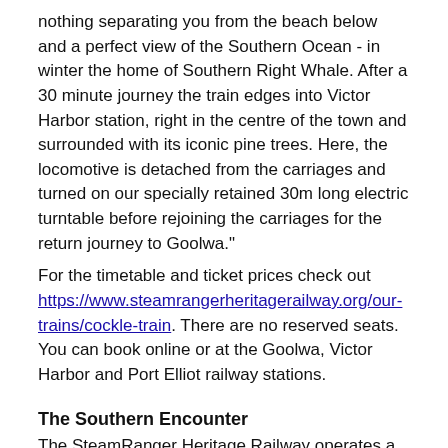nothing separating you from the beach below and a perfect view of the Southern Ocean - in winter the home of Southern Right Whale. After a 30 minute journey the train edges into Victor Harbor station, right in the centre of the town and surrounded with its iconic pine trees. Here, the locomotive is detached from the carriages and turned on our specially retained 30m long electric turntable before rejoining the carriages for the return journey to Goolwa."
For the timetable and ticket prices check out https://www.steamrangerheritagerailway.org/our-trains/cockle-train. There are no reserved seats. You can book online or at the Goolwa, Victor Harbor and Port Elliot railway stations.
The Southern Encounter
The SteamRanger Heritage Railway operates a number of services (check out http://www.steamrangerheritagerailway.org/our-trains/the-southern-encounter) from Mount Barker to Goolwa and on to Victor Harbor. The most popular is the Southern Encounter. The SteamRanger website explains: "The Southern Encounter